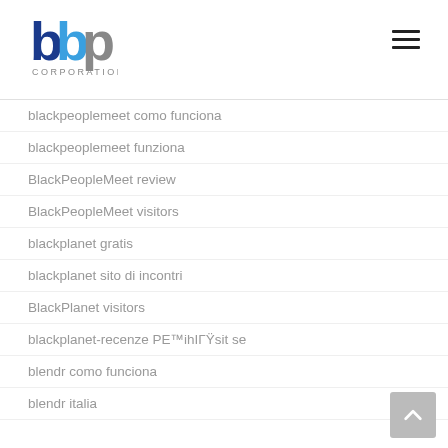[Figure (logo): BBP Corporation logo with blue and grey lettering and 'CORPORATION' text below]
blackpeoplemeet como funciona
blackpeoplemeet funziona
BlackPeopleMeet review
BlackPeopleMeet visitors
blackplanet gratis
blackplanet sito di incontri
BlackPlanet visitors
blackplanet-recenze PE™ihIГŸsit se
blendr como funciona
blendr italia